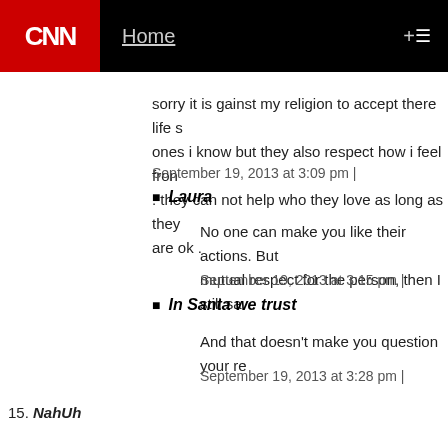CNN — Home +
sorry it is gainst my religion to accept there life s ones i know but they also respect how i feel fron . they can not help who they love as long as they are ok .
September 19, 2013 at 3:09 pm |
Laura
No one can make you like their actions. But mutual respect for the person, then I still sa
September 19, 2013 at 3:15 pm |
In Santa we trust
And that doesn't make you question your re
September 19, 2013 at 3:28 pm |
15. NahUh